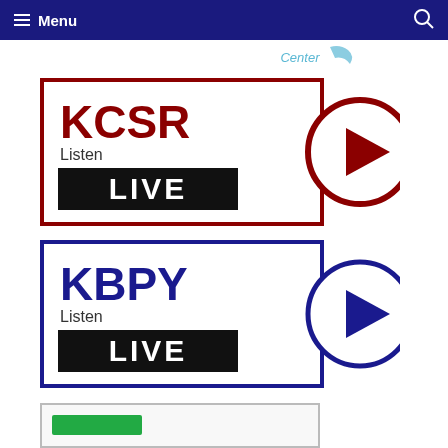Menu
[Figure (logo): Partial logo visible at top right, showing 'Center' text with blue graphic]
[Figure (logo): KCSR Listen LIVE button with dark red play circle]
[Figure (logo): KBPY Listen LIVE button with dark blue play circle]
[Figure (logo): Partial third listen live button, partially visible at bottom, green colored]